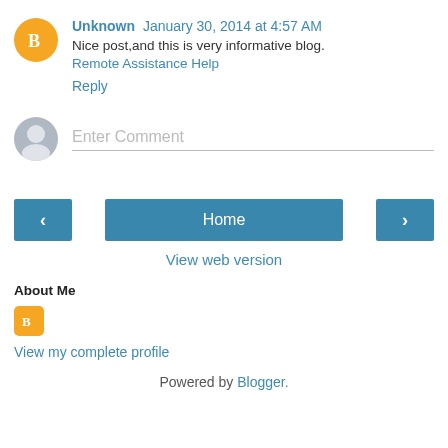Unknown  January 30, 2014 at 4:57 AM
Nice post,and this is very informative blog.
Remote Assistance Help
Reply
Enter Comment
Home
View web version
About Me
View my complete profile
Powered by Blogger.